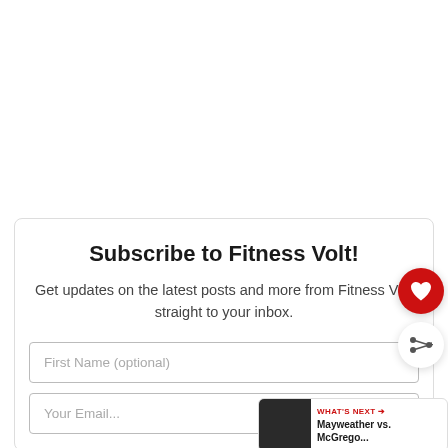Subscribe to Fitness Volt!
Get updates on the latest posts and more from Fitness Volt straight to your inbox.
First Name (optional)
Your Email...